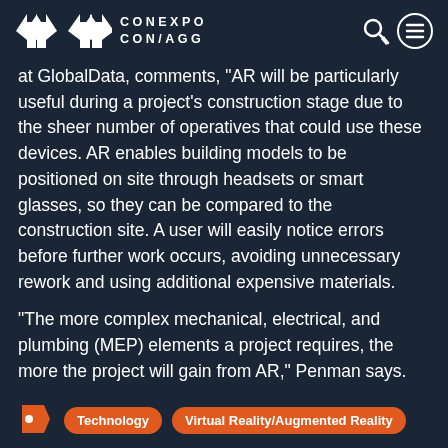CONEXPO CON/AGG
at GlobalData, comments, “AR will be particularly useful during a project’s construction stage due to the sheer number of operatives that could use these devices. AR enables building models to be positioned on site through headsets or smart glasses, so they can be compared to the construction site. A user will easily notice errors before further work occurs, avoiding unnecessary rework and using additional expensive materials.
“The more complex mechanical, electrical, and plumbing (MEP) elements a project requires, the more the project will gain from AR,” Penman says.
Technology
Virtual Reality/Augmented Reality